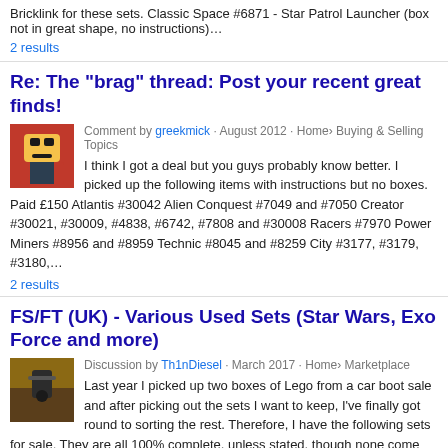Bricklink for these sets. Classic Space #6871 - Star Patrol Launcher (box not in great shape, no instructions)…
2 results
Re: The "brag" thread: Post your recent great finds!
Comment by greekmick · August 2012 · Home› Buying & Selling Topics
I think I got a deal but you guys probably know better. I picked up the following items with instructions but no boxes. Paid £150 Atlantis #30042 Alien Conquest #7049 and #7050 Creator #30021, #30009, #4838, #6742, #7808 and #30008 Racers #7970 Power Miners #8956 and #8959 Technic #8045 and #8259 City #3177, #3179, #3180,…
2 results
FS/FT (UK) - Various Used Sets (Star Wars, Exo Force and more)
Discussion by Th1nDiesel · March 2017 · Home› Marketplace
Last year I picked up two boxes of Lego from a car boot sale and after picking out the sets I want to keep, I've finally got round to sorting the rest. Therefore, I have the following sets for sale. They are all 100% complete, unless stated, though none come with boxes or instructions. Overall condition is pretty good,…